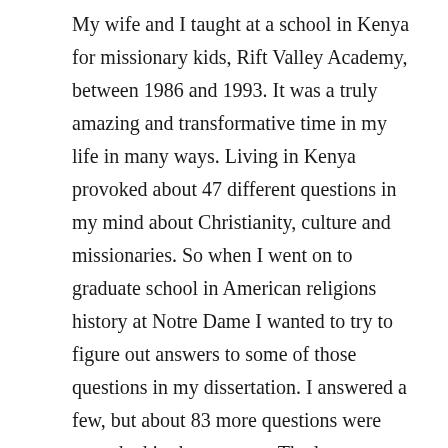My wife and I taught at a school in Kenya for missionary kids, Rift Valley Academy, between 1986 and 1993. It was a truly amazing and transformative time in my life in many ways. Living in Kenya provoked about 47 different questions in my mind about Christianity, culture and missionaries. So when I went on to graduate school in American religions history at Notre Dame I wanted to try to figure out answers to some of those questions in my dissertation. I answered a few, but about 83 more questions were provoked in that process. The long-term result of all that is my book. I still have questions, though.The book fits pretty well into work done by missiologists (theologians and historians who study the theology and history of missions). It draws upon work done by scholars like Andrew Walls, Lamin Sanneh, Brian Stanley and Dana Robert. However, there doesn't seem to be a great deal of crossover influence between